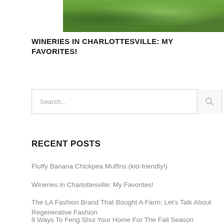[Figure (photo): Outdoor grassy/farm landscape photo, green grass and vegetation]
WINERIES IN CHARLOTTESVILLE: MY FAVORITES!
Search...
RECENT POSTS
Fluffy Banana Chickpea Muffins (kid-friendly!)
Wineries in Charlottesville: My Favorites!
The LA Fashion Brand That Bought A Farm: Let's Talk About Regenerative Fashion
8 Ways To Feng Shui Your Home For The Fall Season